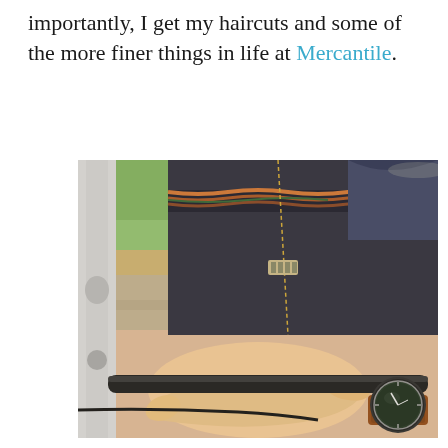importantly, I get my haircuts and some of the more finer things in life at Mercantile.
[Figure (photo): Close-up outdoor photo of a person on a bicycle, showing dark jeans with a braided leather belt, a hand gripping a bike handlebar, and a watch with a brown leather strap on the wrist. The background shows greenery and a sidewalk in sunlight.]